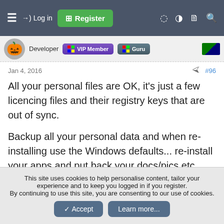≡  →) Log in  [+] Register
Developer  VIP Member  Guru
Jan 4, 2016  #96
All your personal files are OK, it's just a few licencing files and their registry keys that are out of sync.
Backup all your personal data and when re-installing use the Windows defaults... re-install your apps and put back your docs/pics etc,
This site uses cookies to help personalise content, tailor your experience and to keep you logged in if you register.
By continuing to use this site, you are consenting to our use of cookies.